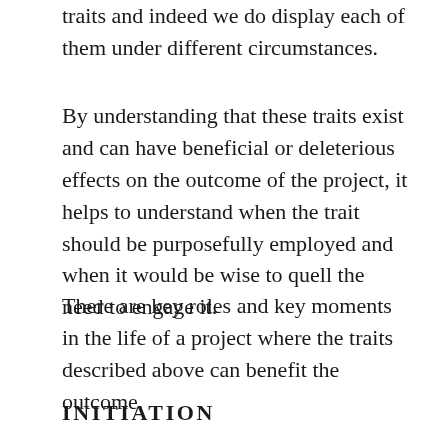traits and indeed we do display each of them under different circumstances.
By understanding that these traits exist and can have beneficial or deleterious effects on the outcome of the project, it helps to understand when the trait should be purposefully employed and when it would be wise to quell the need to engage it.
There are key roles and key moments in the life of a project where the traits described above can benefit the outcome.
INITIATION